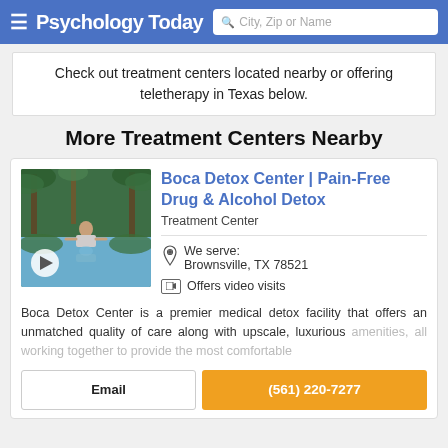Psychology Today — City, Zip or Name search
Check out treatment centers located nearby or offering teletherapy in Texas below.
More Treatment Centers Nearby
[Figure (photo): Photo of a woman meditating in a tropical pool surrounded by palm trees and lush greenery, with a play button overlay]
Boca Detox Center | Pain-Free Drug & Alcohol Detox
Treatment Center
We serve: Brownsville, TX 78521
Offers video visits
Boca Detox Center is a premier medical detox facility that offers an unmatched quality of care along with upscale, luxurious amenities, all working together to provide the most comfortable
Email
(561) 220-7277